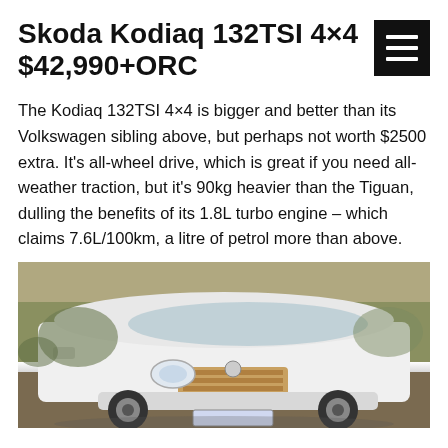Skoda Kodiaq 132TSI 4×4 $42,990+ORC
The Kodiaq 132TSI 4×4 is bigger and better than its Volkswagen sibling above, but perhaps not worth $2500 extra. It's all-wheel drive, which is great if you need all-weather traction, but it's 90kg heavier than the Tiguan, dulling the benefits of its 1.8L turbo engine – which claims 7.6L/100km, a litre of petrol more than above.
[Figure (photo): Front view of a white Skoda Kodiaq SUV photographed outdoors against a natural background with trees and shrubs.]